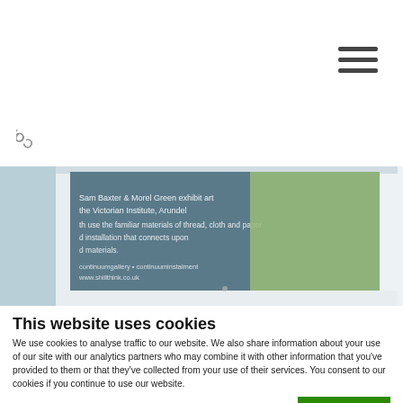CONTINUUM (logo)
[Figure (photo): A window with white painted frame showing a gallery or exhibition text on glass, with greenery visible in the background]
This website uses cookies
We use cookies to analyse traffic to our website. We also share information about your use of our site with our analytics partners who may combine it with other information that you've provided to them or that they've collected from your use of their services. You consent to our cookies if you continue to use our website.
OK
Necessary   Preferences   Statistics   Marketing   Show details